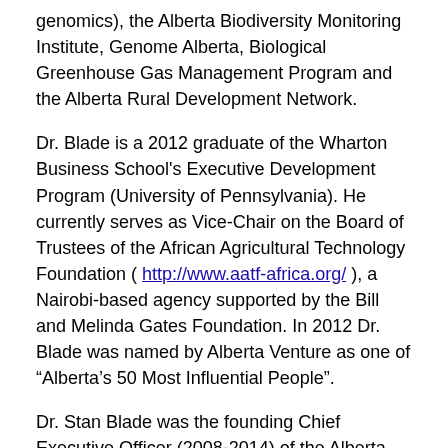genomics), the Alberta Biodiversity Monitoring Institute, Genome Alberta, Biological Greenhouse Gas Management Program and the Alberta Rural Development Network.
Dr. Blade is a 2012 graduate of the Wharton Business School's Executive Development Program (University of Pennsylvania). He currently serves as Vice-Chair on the Board of Trustees of the African Agricultural Technology Foundation ( http://www.aatf-africa.org/ ), a Nairobi-based agency supported by the Bill and Melinda Gates Foundation. In 2012 Dr. Blade was named by Alberta Venture as one of “Alberta’s 50 Most Influential People”.
Dr. Stan Blade was the founding Chief Executive Officer (2008-2014) of the Alberta Innovates Bio Solutions Corporation (AI Bio). Alberta Innovates Bio Solutions is a provincial government agency that leads and